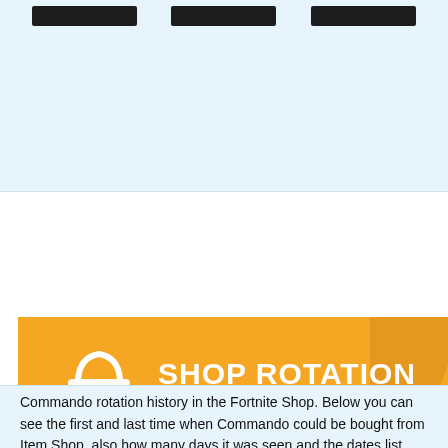[Figure (other): Top section with light blue background showing three blurred/redacted black image bars side by side]
[Figure (infographic): Orange banner with shopping basket and refresh icon, text reading SHOP ROTATION HISTORY in bold white capital letters]
Commando rotation history in the Fortnite Shop. Below you can see the first and last time when Commando could be bought from Item Shop, also how many days it was seen and the dates list. This cosmetic item can be re-added in